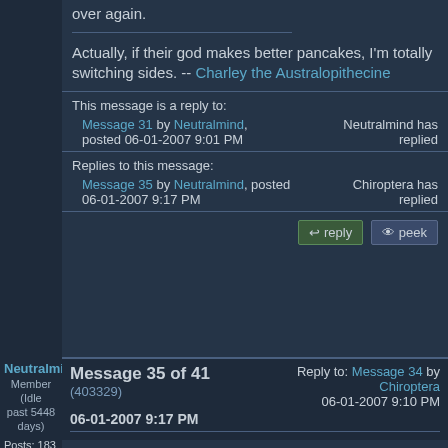over again.
Actually, if their god makes better pancakes, I'm totally switching sides. -- Charley the Australopithecine
This message is a reply to: Message 31 by Neutralmind, posted 06-01-2007 9:01 PM. Neutralmind has replied
Replies to this message: Message 35 by Neutralmind, posted 06-01-2007 9:17 PM. Chiroptera has replied
Neutralmind Member (Idle past 5448 days) Posts: 183 From: Finland Joined: 06-08-2006
Message 35 of 41 (403329) 06-01-2007 9:17 PM Reply to: Message 34 by Chiroptera 06-01-2007 9:10 PM
Ok, so can you tell me it why it is good to emphatise with people? So they will emphatise back??... Say, people you'll never see again, why emphatise, why help them?